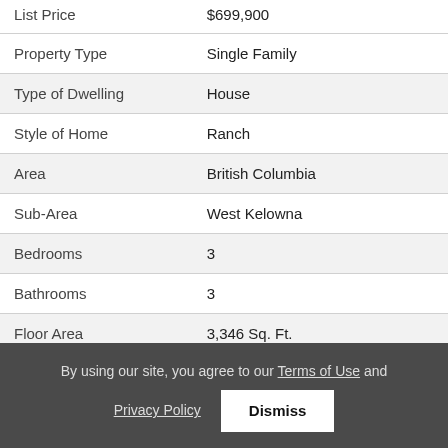| List Price | $699,900 |
| Property Type | Single Family |
| Type of Dwelling | House |
| Style of Home | Ranch |
| Area | British Columbia |
| Sub-Area | West Kelowna |
| Bedrooms | 3 |
| Bathrooms | 3 |
| Floor Area | 3,346 Sq. Ft. |
| Lot Size | 0.21 Sq. Ft. |
By using our site, you agree to our Terms of Use and Privacy Policy  Dismiss